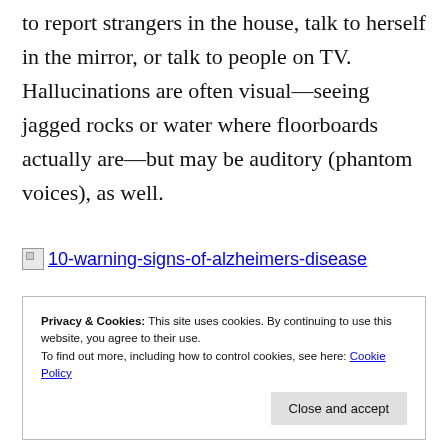to report strangers in the house, talk to herself in the mirror, or talk to people on TV. Hallucinations are often visual—seeing jagged rocks or water where floorboards actually are—but may be auditory (phantom voices), as well.
[Figure (illustration): Broken image placeholder with link text: 10-warning-signs-of-alzheimers-disease]
Privacy & Cookies: This site uses cookies. By continuing to use this website, you agree to their use. To find out more, including how to control cookies, see here: Cookie Policy
Close and accept